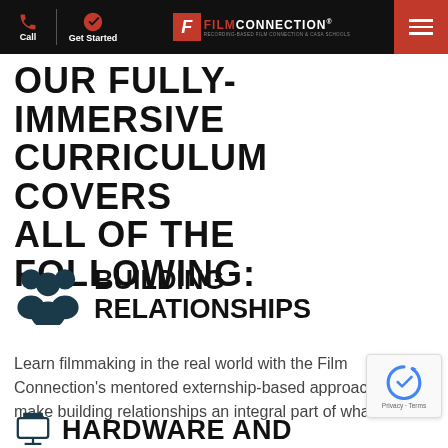Film Connection — Call | Get Started | Navigation
OUR FULLY-IMMERSIVE CURRICULUM COVERS ALL OF THE FOLLOWING:
BUILDING RELATIONSHIPS
Learn filmmaking in the real world with the Film Connection's mentored externship-based approach. We make building relationships an integral part of what w…
HARDWARE AND